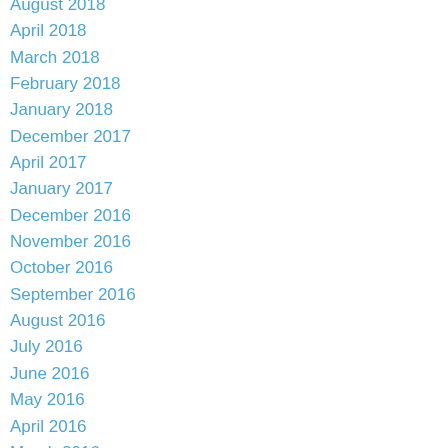August 2018
April 2018
March 2018
February 2018
January 2018
December 2017
April 2017
January 2017
December 2016
November 2016
October 2016
September 2016
August 2016
July 2016
June 2016
May 2016
April 2016
March 2016
February 2016
January 2016
December 2015